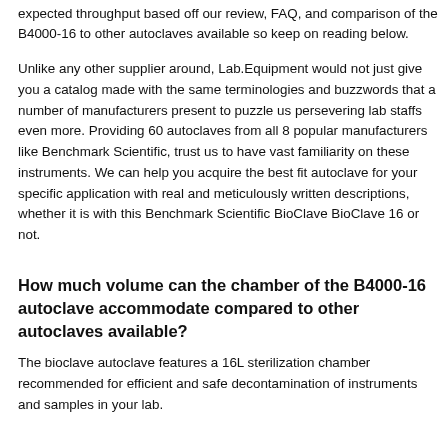autoclave can give reliable cleaning and sterilization for your particular application but if not, you can check out the best unit to obtain your expected throughput based off our review, FAQ, and comparison of the B4000-16 to other autoclaves available so keep on reading below.
Unlike any other supplier around, Lab.Equipment would not just give you a catalog made with the same terminologies and buzzwords that a number of manufacturers present to puzzle us persevering lab staffs even more. Providing 60 autoclaves from all 8 popular manufacturers like Benchmark Scientific, trust us to have vast familiarity on these instruments. We can help you acquire the best fit autoclave for your specific application with real and meticulously written descriptions, whether it is with this Benchmark Scientific BioClave BioClave 16 or not.
How much volume can the chamber of the B4000-16 autoclave accommodate compared to other autoclaves available?
The bioclave autoclave features a 16L sterilization chamber recommended for efficient and safe decontamination of instruments and samples in your lab.